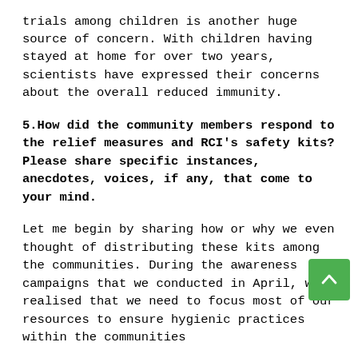trials among children is another huge source of concern. With children having stayed at home for over two years, scientists have expressed their concerns about the overall reduced immunity.
5.How did the community members respond to the relief measures and RCI's safety kits? Please share specific instances, anecdotes, voices, if any, that come to your mind.
Let me begin by sharing how or why we even thought of distributing these kits among the communities. During the awareness campaigns that we conducted in April, we realised that we need to focus most of our resources to ensure hygienic practices within the communities